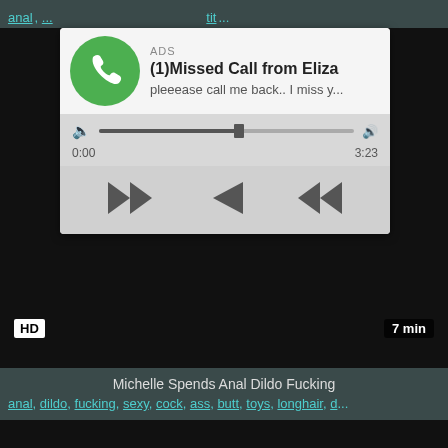anal, ...tit...
[Figure (screenshot): Audio ad overlay with green phone icon, title '(1)Missed Call from Eliza', subtitle 'pleeease call me back.. I miss y...', progress bar showing 0:00 to 3:23, and playback controls (rewind, play, fast-forward). Labeled ADS.]
HD
7 min
Michelle Spends Anal Dildo Fucking
anal, dildo, fucking, sexy, cock, ass, butt, toys, longhair, d...